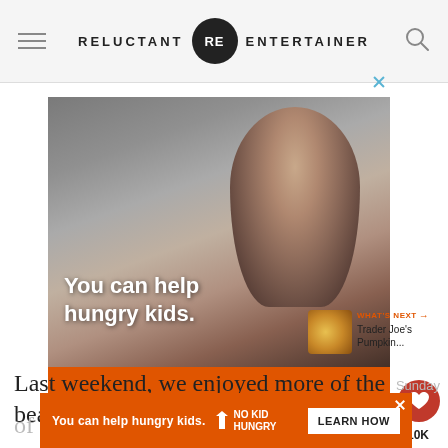RELUCTANT RE ENTERTAINER
[Figure (photo): Advertisement for No Kid Hungry showing a child eating, with text 'You can help hungry kids.' and a 'LEARN HOW' button on an orange banner with No Kid Hungry logo.]
Last weekend, we enjoyed more of the beauty
[Figure (photo): Second smaller No Kid Hungry advertisement banner at the bottom: 'You can help hungry kids.' with No Kid Hungry logo and LEARN HOW button.]